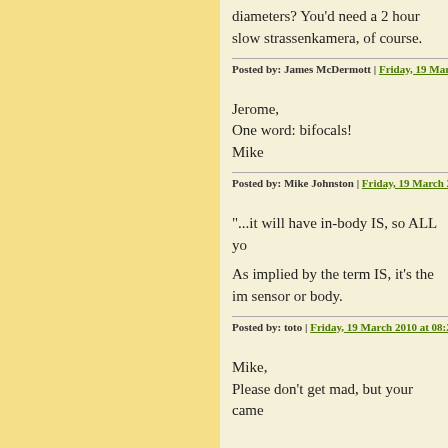diameters? You'd need a 2 hour slow strassenkamera, of course.
Posted by: James McDermott | Friday, 19 March 2010
Jerome,
One word: bifocals!

Mike
Posted by: Mike Johnston | Friday, 19 March 2010 at 0
"...it will have in-body IS, so ALL yo
As implied by the term IS, it's the im sensor or body.
Posted by: toto | Friday, 19 March 2010 at 08:24 AM
Mike,
Please don't get mad, but your came